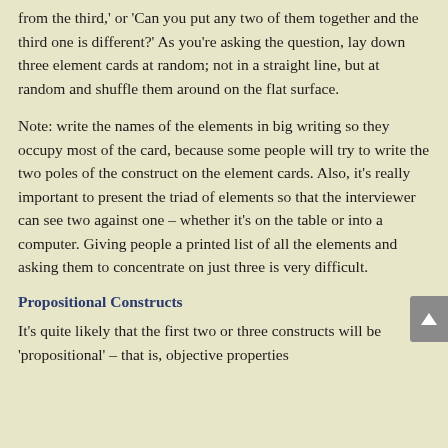from the third,' or 'Can you put any two of them together and the third one is different?' As you're asking the question, lay down three element cards at random; not in a straight line, but at random and shuffle them around on the flat surface.
Note: write the names of the elements in big writing so they occupy most of the card, because some people will try to write the two poles of the construct on the element cards. Also, it's really important to present the triad of elements so that the interviewer can see two against one – whether it's on the table or into a computer. Giving people a printed list of all the elements and asking them to concentrate on just three is very difficult.
Propositional Constructs
It's quite likely that the first two or three constructs will be 'propositional' – that is, objective properties